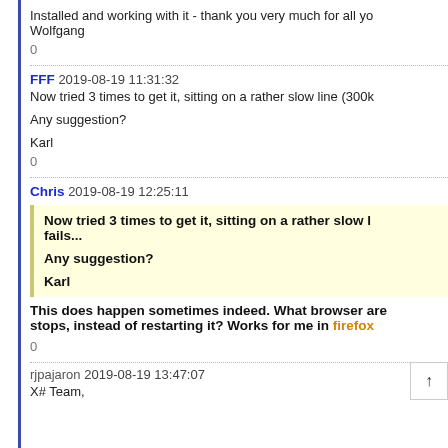Installed and working with it - thank you very much for all yo
Wolfgang
0
FFF 2019-08-19 11:31:32
Now tried 3 times to get it, sitting on a rather slow line (300k

Any suggestion?

Karl
0
Chris 2019-08-19 12:25:11
Now tried 3 times to get it, sitting on a rather slow l
fails...

Any suggestion?

Karl
This does happen sometimes indeed. What browser are
stops, instead of restarting it? Works for me in firefox
0
rjpajaron 2019-08-19 13:47:07
X# Team,